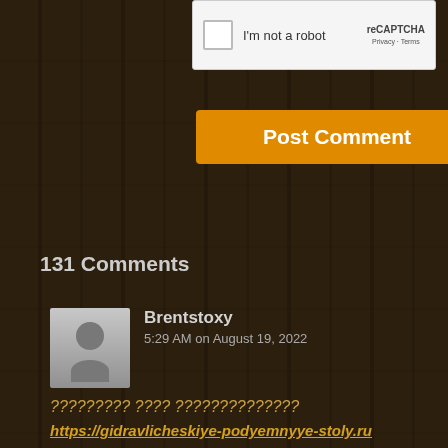[Figure (screenshot): reCAPTCHA widget with checkbox and 'I'm not a robot' label, top-right shows reCAPTCHA logo with Privacy - Terms links]
Post Comment
131 Comments
Brentstoxy
5:29 AM on August 19, 2022
????????? ???? ??????????????
https://gidravlicheskiye-podyemnyye-stoly.ru
Brentstoxy
8:24 AM on August 17, 2022
????????? ???? ??????????????
https://gidravlicheskiye-podyemnyye-stoly.ru
Andrewmeeli